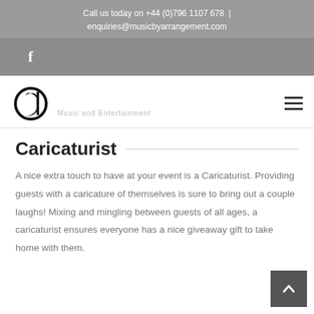Call us today on +44 (0)796 1107 678 | enquiries@musicbyarrangement.com
[Figure (logo): Facebook icon (f) in a gray bar]
[Figure (logo): Music by Arrangement logo - treble clef style circular icon with tagline 'Music and Entertainment']
Caricaturist
A nice extra touch to have at your event is a Caricaturist. Providing guests with a caricature of themselves is sure to bring out a couple laughs! Mixing and mingling between guests of all ages, a caricaturist ensures everyone has a nice giveaway gift to take home with them.